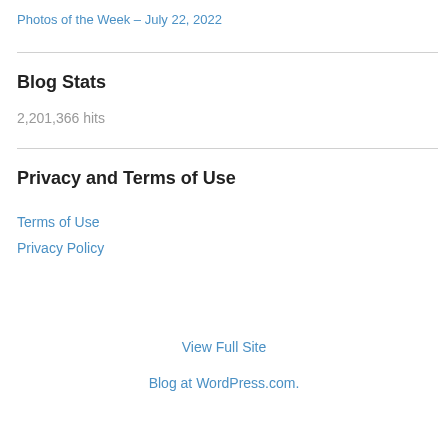Photos of the Week – July 22, 2022
Blog Stats
2,201,366 hits
Privacy and Terms of Use
Terms of Use
Privacy Policy
View Full Site
Blog at WordPress.com.